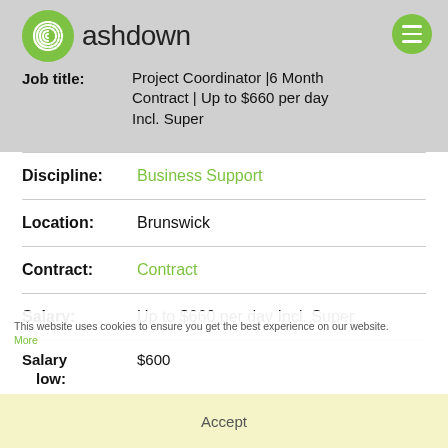[Figure (logo): Ashdown fingerprint logo with text 'ashdown' and green hamburger menu button]
Job title: Project Coordinator |6 Month Contract | Up to $660 per day Incl. Super
Discipline: Business Support
Location: Brunswick
Contract: Contract
Salary: Up to $660 per day Incl. Super
This website uses cookies to ensure you get the best experience on our website. More
Salary $600
low:
Accept